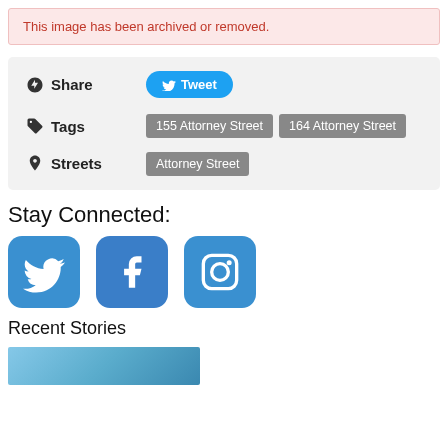This image has been archived or removed.
Share
Tweet
Tags
155 Attorney Street
164 Attorney Street
Streets
Attorney Street
Stay Connected:
[Figure (illustration): Twitter, Facebook, and Instagram social media icons (blue rounded square buttons)]
Recent Stories
[Figure (photo): Partial photo thumbnail at the bottom of the page]